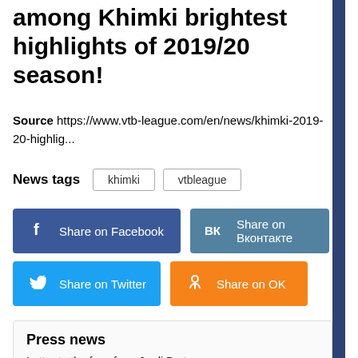among Khimki brightest highlights of 2019/20 season!
Source https://www.vtb-league.com/en/news/khimki-2019-20-highlig...
News tags   khimki   vtbleague
[Figure (infographic): Social share buttons: Share on Facebook (blue), Share on Вконтакте (steel blue), Share on Twitter (light blue), Share on OK (orange)]
Press news
Letter to the fans from Jordi Bertomeu